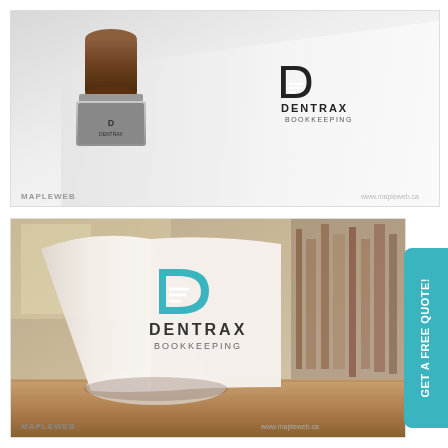[Figure (photo): Top photo: A rubber stamp with a wooden handle sitting on white paper. The stamp face shows the Dentrax Bookkeeping logo. To the right on the white paper surface is the Dentrax Bookkeeping logo printed clearly. Bottom left watermark: MAPLEWEB. Bottom right watermark: www.mapleweb.ca]
[Figure (photo): Bottom photo: A rolled/curled sheet of paper on a wooden desk surface with blurred bookshelf background. The paper displays the Dentrax Bookkeeping logo in teal and dark text. Bottom left watermark: MAPLEWEB. Bottom right watermark: www.mapleweb.ca. On the right edge is a teal call-to-action tab reading GET A FREE QUOTE! vertically.]